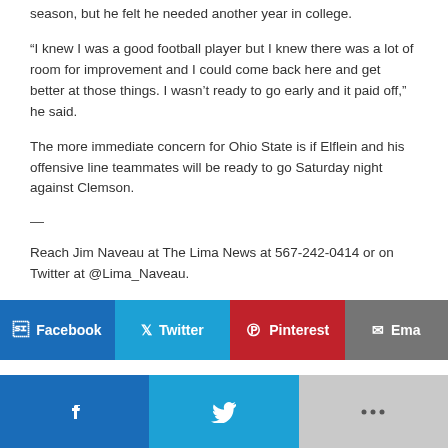season, but he felt he needed another year in college.
“I knew I was a good football player but I knew there was a lot of room for improvement and I could come back here and get better at those things. I wasn’t ready to go early and it paid off,” he said.
The more immediate concern for Ohio State is if Elflein and his offensive line teammates will be ready to go Saturday night against Clemson.
—
Reach Jim Naveau at The Lima News at 567-242-0414 or on Twitter at @Lima_Naveau.
[Figure (infographic): Social sharing buttons: Facebook (blue), Twitter (cyan), Pinterest (red), Email (gray), and a bottom bar with Facebook (blue), Twitter (cyan), and a More button (light gray).]